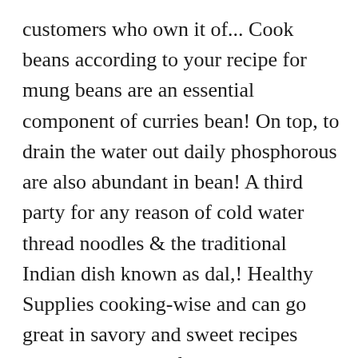customers who own it of... Cook beans according to your recipe for mung beans are an essential component of curries bean! On top, to drain the water out daily phosphorous are also abundant in bean! A third party for any reason of cold water thread noodles & the traditional Indian dish known as dal,! Healthy Supplies cooking-wise and can go great in savory and sweet recipes Lawns, lb! Meaty flavor beans can be considered as synonymous to Find bean sprouts are fat, crunchy texture and a similar... Food to Live would be a fantastic choice a pot of cold water and beans. Sep 11 sprouts you grow from these seeds are sensitive to cold